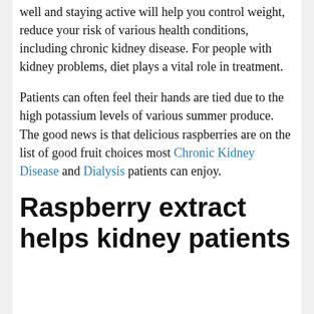well and staying active will help you control weight, reduce your risk of various health conditions, including chronic kidney disease. For people with kidney problems, diet plays a vital role in treatment.
Patients can often feel their hands are tied due to the high potassium levels of various summer produce. The good news is that delicious raspberries are on the list of good fruit choices most Chronic Kidney Disease and Dialysis patients can enjoy.
Raspberry extract helps kidney patients